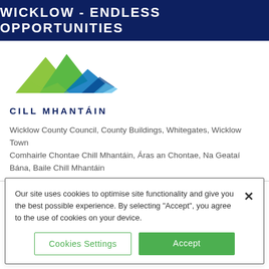WICKLOW - ENDLESS OPPORTUNITIES
[Figure (logo): Cill Mhantáin (Wicklow County Council) logo: stylized mountain graphic in green and blue shades above the text CILL MHANTÁIN in dark navy blue capitals]
Wicklow County Council, County Buildings, Whitegates, Wicklow Town
Comhairle Chontae Chill Mhantáin, Áras an Chontae, Na Geataí Bána, Baile Chill Mhantáin
Our site uses cookies to optimise site functionality and give you the best possible experience. By selecting "Accept", you agree to the use of cookies on your device.
Cookies Settings
Accept